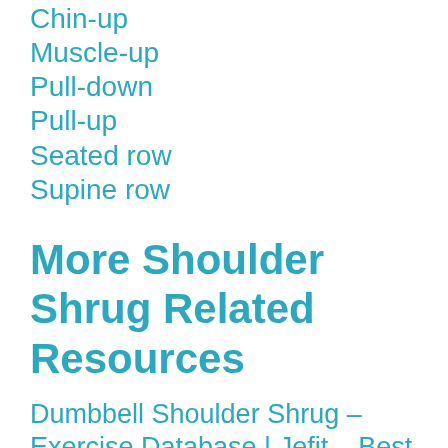Chin-up
Muscle-up
Pull-down
Pull-up
Seated row
Supine row
More Shoulder Shrug Related Resources
Dumbbell Shoulder Shrug – Exercise Database | Jefit – Best Android and iPhone Workout, Fitness, Exercise and Bodybuilding App | Best Workout Tracking Software
Dumbbell Shrug | Exercise Videos & Guides | Bodybuilding.com
Shoulder Shrugs: Muscles Worked, Benefits, and How To